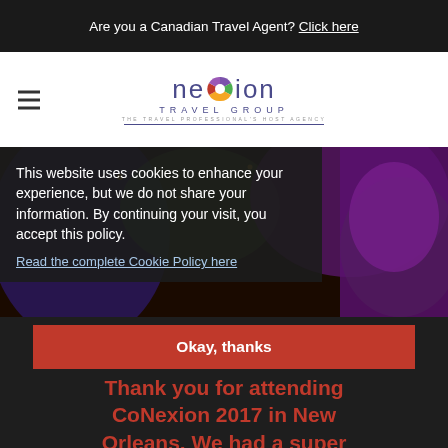Are you a Canadian Travel Agent? Click here
[Figure (logo): Nexion Travel Group logo with colorful circle icon and tagline 'The Travel Professional's Host Agency']
This website uses cookies to enhance your experience, but we do not share your information. By continuing your visit, you accept this policy.
Read the complete Cookie Policy here
Okay, thanks
Thank you for attending CoNexion 2017 in New Orleans. We had a super